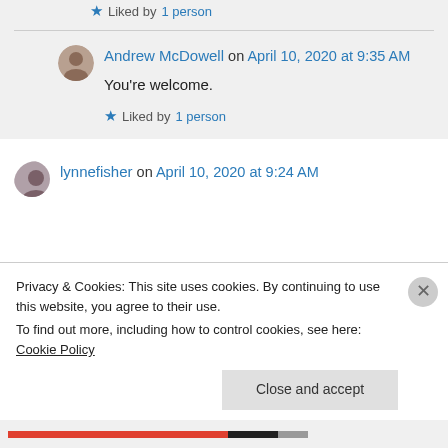Liked by 1 person
Andrew McDowell on April 10, 2020 at 9:35 AM
You're welcome.
Liked by 1 person
lynnefisher on April 10, 2020 at 9:24 AM
Privacy & Cookies: This site uses cookies. By continuing to use this website, you agree to their use.
To find out more, including how to control cookies, see here: Cookie Policy
Close and accept